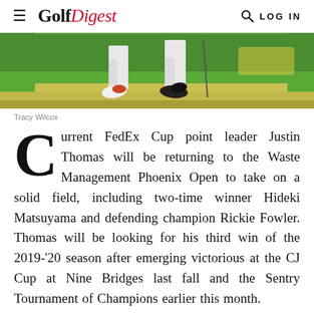≡  GolfDigest   🔍 LOG IN
[Figure (photo): Cropped photo showing two golfers' legs from the knees down on a golf course green, with golf shoes and a club visible against a green grass background]
Tracy Wilcox
Current FedEx Cup point leader Justin Thomas will be returning to the Waste Management Phoenix Open to take on a solid field, including two-time winner Hideki Matsuyama and defending champion Rickie Fowler. Thomas will be looking for his third win of the 2019-'20 season after emerging victorious at the CJ Cup at Nine Bridges last fall and the Sentry Tournament of Champions earlier this month.